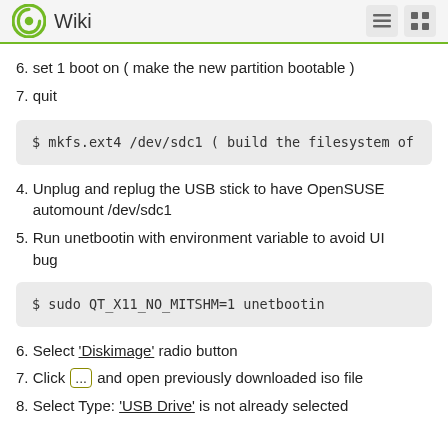Wiki
6. set 1 boot on ( make the new partition bootable )
7. quit
$ mkfs.ext4 /dev/sdc1 ( build the filesystem of
4. Unplug and replug the USB stick to have OpenSUSE automount /dev/sdc1
5. Run unetbootin with environment variable to avoid UI bug
$ sudo QT_X11_NO_MITSHM=1 unetbootin
6. Select 'Diskimage' radio button
7. Click [...] and open previously downloaded iso file
8. Select Type: 'USB Drive' is not already selected